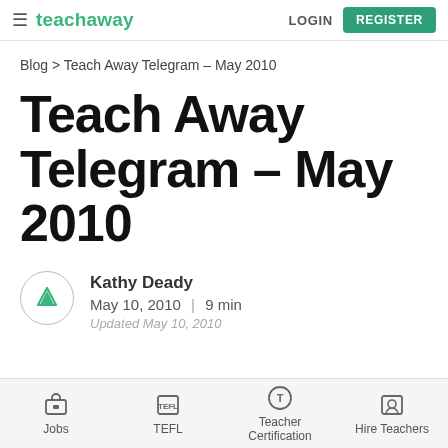teachaway  LOGIN  REGISTER
Blog > Teach Away Telegram – May 2010
Teach Away Telegram – May 2010
Kathy Deady
May 10, 2010  |  9 min
Updated May 10, 2010
Jobs  TEFL  Teacher Certification  Hire Teachers